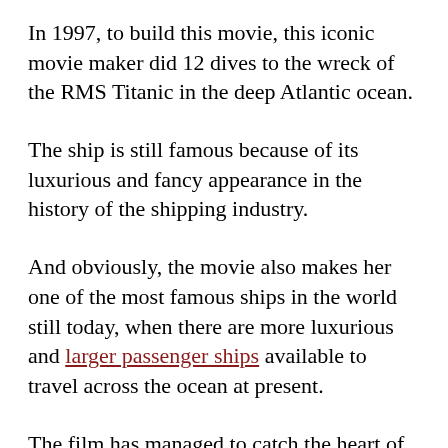In 1997, to build this movie, this iconic movie maker did 12 dives to the wreck of the RMS Titanic in the deep Atlantic ocean.
The ship is still famous because of its luxurious and fancy appearance in the history of the shipping industry.
And obviously, the movie also makes her one of the most famous ships in the world still today, when there are more luxurious and larger passenger ships available to travel across the ocean at present.
The film has managed to catch the heart of many people with the story behind the sinking of the Titanic.